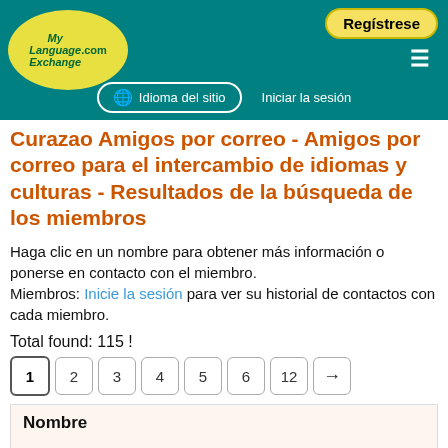MyLanguageExchange.com — Regístrese | Idioma del sitio | Iniciar la sesión
Curazao Amigos por correo - Amigos por correo para el intercambio de idiomas y culturas - Resultados de la búsqueda de los miembros
Haga clic en un nombre para obtener más información o ponerse en contacto con el miembro.
Miembros: Inicie la sesión para ver su historial de contactos con cada miembro.
Total found: 115 !
Pagination: 1 2 3 4 5 6 12 →
| Nombre |
| --- |
| [smiley face icon] |